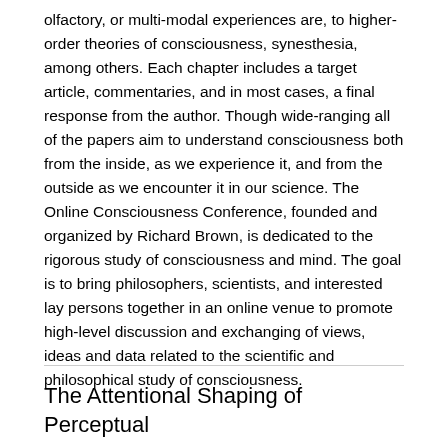olfactory, or multi-modal experiences are, to higher-order theories of consciousness, synesthesia, among others. Each chapter includes a target article, commentaries, and in most cases, a final response from the author. Though wide-ranging all of the papers aim to understand consciousness both from the inside, as we experience it, and from the outside as we encounter it in our science. The Online Consciousness Conference, founded and organized by Richard Brown, is dedicated to the rigorous study of consciousness and mind. The goal is to bring philosophers, scientists, and interested lay persons together in an online venue to promote high-level discussion and exchanging of views, ideas and data related to the scientific and philosophical study of consciousness.
The Attentional Shaping of Perceptual